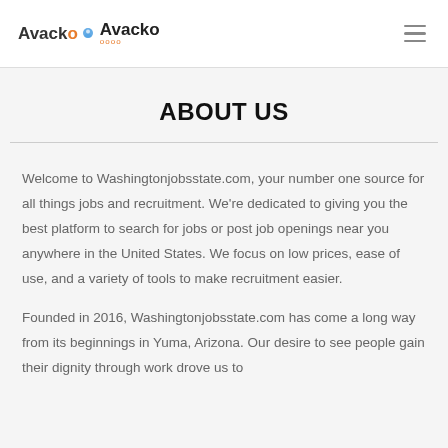Avacko
ABOUT US
Welcome to Washingtonjobsstate.com, your number one source for all things jobs and recruitment. We're dedicated to giving you the best platform to search for jobs or post job openings near you anywhere in the United States. We focus on low prices, ease of use, and a variety of tools to make recruitment easier.
Founded in 2016, Washingtonjobsstate.com has come a long way from its beginnings in Yuma, Arizona. Our desire to see people gain their dignity through work drove us to